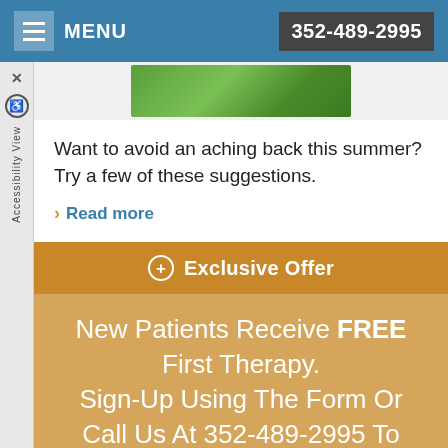MENU | 352-489-2995
[Figure (photo): Green outdoor/nature image thumbnail]
Want to avoid an aching back this summer? Try a few of these suggestions.
> Read more
⊕ Exclusive Offer
New Patients Receive FREE First Therapy. Sign-Up Using The Form Or Call Us At 352-489-2995 To Take Advantage Of This Exclusive Offer.
Disclaimer